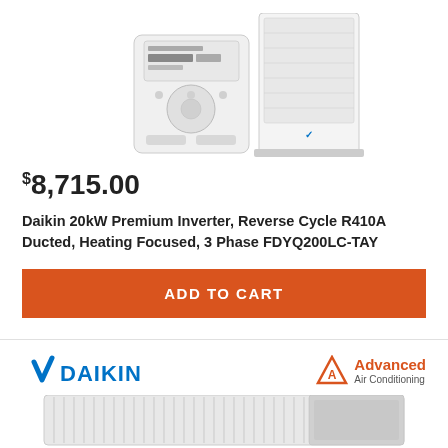[Figure (photo): Daikin remote control unit and outdoor VRV/ducted unit product images side by side]
$8,715.00
Daikin 20kW Premium Inverter, Reverse Cycle R410A Ducted, Heating Focused, 3 Phase FDYQ200LC-TAY
ADD TO CART
[Figure (logo): Daikin logo (blue) and Advanced Air Conditioning logo (orange)]
[Figure (photo): Bottom portion of Daikin ducted indoor unit product image]